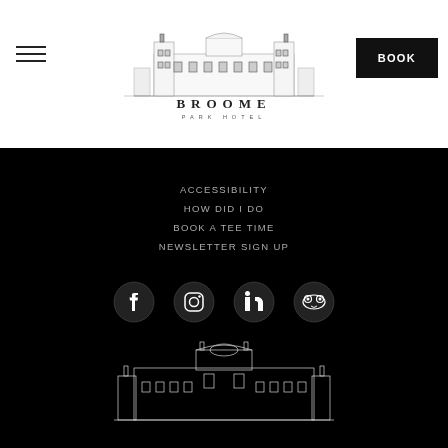[Figure (logo): Broome Park Hotel logo with illustrated building and text]
ACCESSIBILITY
HOW DID I DO
BOOK A TEE TIME
NEWSLETTER SIGN UP
[Figure (illustration): Social media icons: Facebook, Instagram, LinkedIn, TripAdvisor]
[Figure (illustration): Broome Park building outline illustration in white on black background]